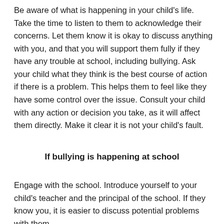Be aware of what is happening in your child's life. Take the time to listen to them to acknowledge their concerns. Let them know it is okay to discuss anything with you, and that you will support them fully if they have any trouble at school, including bullying. Ask your child what they think is the best course of action if there is a problem. This helps them to feel like they have some control over the issue. Consult your child with any action or decision you take, as it will affect them directly. Make it clear it is not your child's fault.
If bullying is happening at school
Engage with the school. Introduce yourself to your child's teacher and the principal of the school. If they know you, it is easier to discuss potential problems with them.